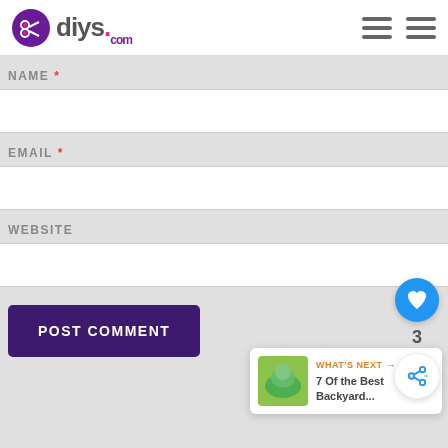diys.com
NAME *
EMAIL *
WEBSITE
3
POST COMMENT
WHAT'S NEXT → 7 Of the Best Backyard...